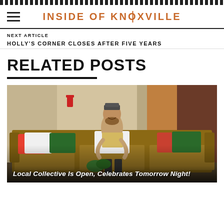INSIDE OF KNOXVILLE
NEXT ARTICLE
HOLLY'S CORNER CLOSES AFTER FIVE YEARS
RELATED POSTS
[Figure (photo): A man sitting on a brown leather couch with colorful pillows in an indoor space with painted walls. Text overlay reads: Local Collective Is Open, Celebrates Tomorrow Night!]
Local Collective Is Open, Celebrates Tomorrow Night!